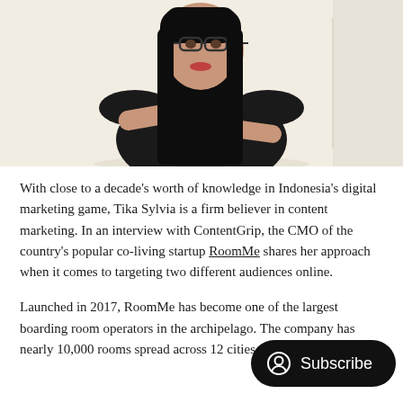[Figure (photo): Portrait photo of Tika Sylvia, a woman with long black hair wearing glasses and a black-and-white patterned sleeveless top, arms crossed, against a light background.]
With close to a decade's worth of knowledge in Indonesia's digital marketing game, Tika Sylvia is a firm believer in content marketing. In an interview with ContentGrip, the CMO of the country's popular co-living startup RoomMe shares her approach when it comes to targeting two different audiences online.
Launched in 2017, RoomMe has become one of the largest boarding room operators in the archipelago. The company has nearly 10,000 rooms spread across 12 cities in the